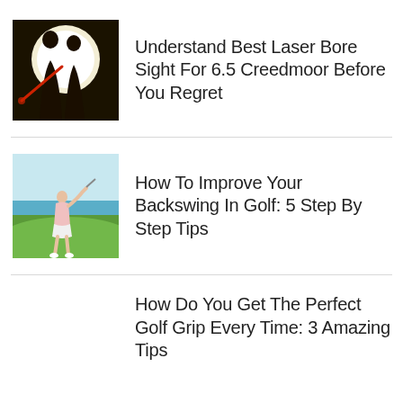[Figure (photo): Two silhouetted figures against a bright white circular light background with a red laser beam visible]
Understand Best Laser Bore Sight For 6.5 Creedmoor Before You Regret
[Figure (photo): Woman golfer mid-swing on a golf course with green grass and ocean/sky in background]
How To Improve Your Backswing In Golf: 5 Step By Step Tips
How Do You Get The Perfect Golf Grip Every Time: 3 Amazing Tips